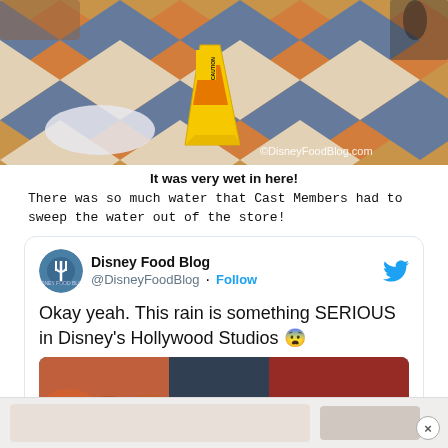[Figure (photo): A yellow caution wet floor sign on a colorful diamond-patterned tile floor inside a store. A white plastic bag is nearby. Watermark reads ©DisneyFoodBlog.com]
It was very wet in here!
There was so much water that Cast Members had to sweep the water out of the store!
[Figure (screenshot): Embedded tweet from @DisneyFoodBlog with text: Okay yeah. This rain is something SERIOUS in Disney's Hollywood Studios 😨 with a Watch on Twitter overlay image]
[Figure (photo): Bottom advertisement bar with a close (X) button]